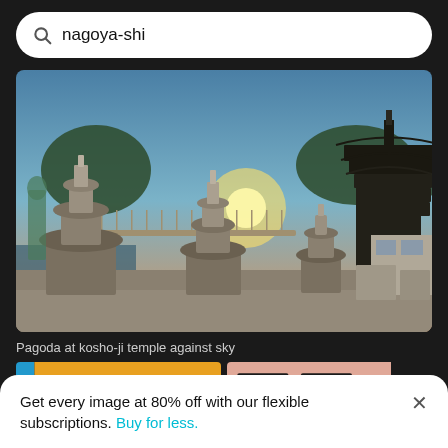nagoya-shi
[Figure (photo): Photograph of stone pagoda monuments at Kosho-ji temple grounds with a traditional multi-tiered pagoda in the background, taken at sunset/dusk with sky visible]
Pagoda at kosho-ji temple against sky
[Figure (photo): Two thumbnail photos: left shows a yellow/orange building facade with windows and a blue tram/train; right shows a pink/salmon building facade with windows and a dark tree sculpture]
Get every image at 80% off with our flexible subscriptions. Buy for less.